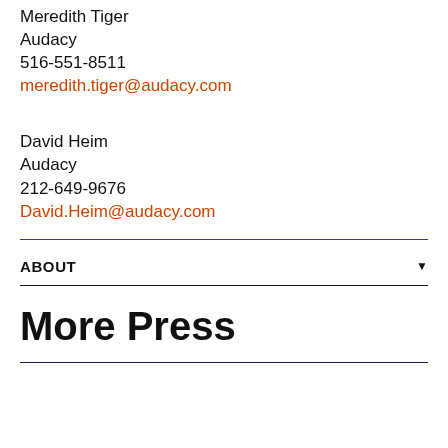Meredith Tiger
Audacy
516-551-8511
meredith.tiger@audacy.com
David Heim
Audacy
212-649-9676
David.Heim@audacy.com
ABOUT
More Press